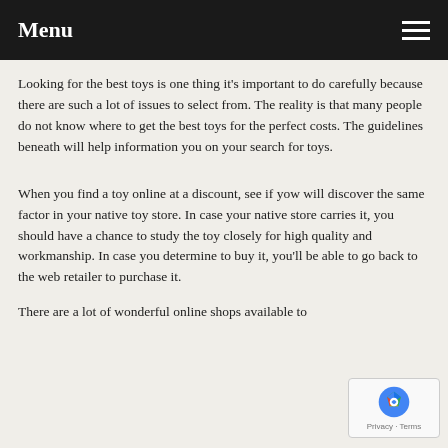Menu
Looking for the best toys is one thing it's important to do carefully because there are such a lot of issues to select from. The reality is that many people do not know where to get the best toys for the perfect costs. The guidelines beneath will help information you on your search for toys.
When you find a toy online at a discount, see if yow will discover the same factor in your native toy store. In case your native store carries it, you should have a chance to study the toy closely for high quality and workmanship. In case you determine to buy it, you'll be able to go back to the web retailer to purchase it.
There are a lot of wonderful online shops available to